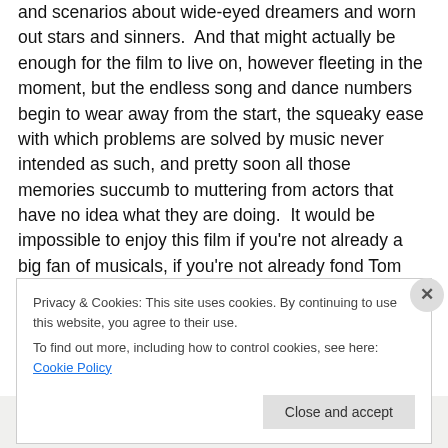and scenarios about wide-eyed dreamers and worn out stars and sinners.  And that might actually be enough for the film to live on, however fleeting in the moment, but the endless song and dance numbers begin to wear away from the start, the squeaky ease with which problems are solved by music never intended as such, and pretty soon all those memories succumb to muttering from actors that have no idea what they are doing.  It would be impossible to enjoy this film if you're not already a big fan of musicals, if you're not already fond Tom Cruise on the periphery, surrounded by others pushing up his magnanimity
Privacy & Cookies: This site uses cookies. By continuing to use this website, you agree to their use.
To find out more, including how to control cookies, see here: Cookie Policy
Close and accept